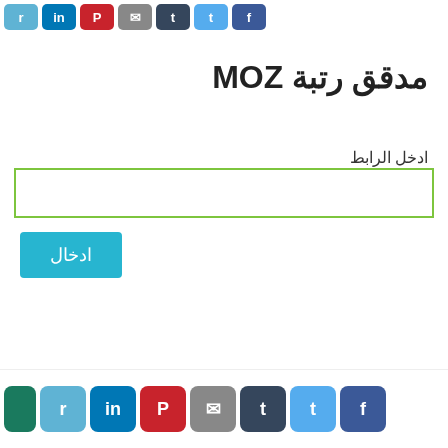[Figure (screenshot): Top row of social media sharing icons: reddit, linkedin, pinterest, email, tumblr, twitter, facebook]
مدقق رتبة MOZ
ادخل الرابط
[Figure (screenshot): Green-bordered text input field]
ادخال
[Figure (screenshot): Bottom row of social media sharing icons: green icon, reddit, linkedin, pinterest, email, tumblr, twitter, facebook]